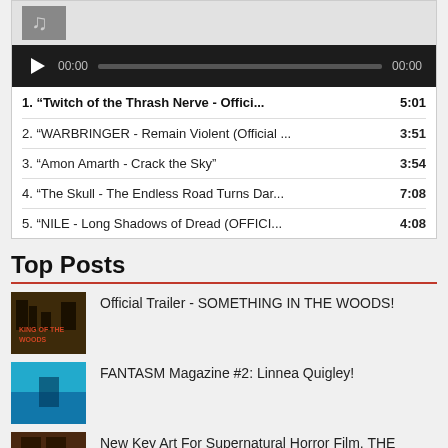[Figure (screenshot): Music player widget with dark player bar showing play button, 00:00 timestamps and progress bar, followed by a track list of 5 items]
1. "Twitch of the Thrash Nerve - Offici... 5:01
2. "WARBRINGER - Remain Violent (Official ... 3:51
3. "Amon Amarth - Crack the Sky" 3:54
4. "The Skull - The Endless Road Turns Dar... 7:08
5. "NILE - Long Shadows of Dread (OFFICI... 4:08
Top Posts
[Figure (photo): Thumbnail image for 'Something in the Woods' post - dark wooded scene]
Official Trailer - SOMETHING IN THE WOODS!
[Figure (photo): Thumbnail for FANTASM Magazine #2 Linnea Quigley post - teal/blue toned image]
FANTASM Magazine #2: Linnea Quigley!
[Figure (photo): Thumbnail for The School supernatural horror film post - dark brownish image]
New Key Art For Supernatural Horror Film, THE SCHOOL!